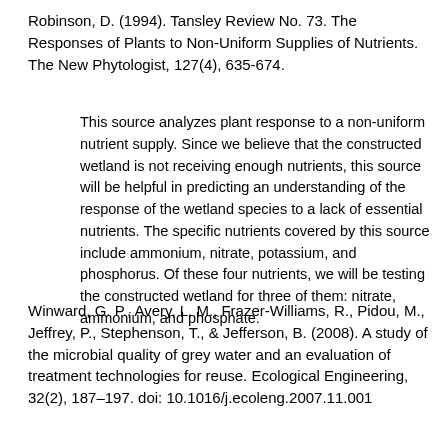Robinson, D. (1994). Tansley Review No. 73. The Responses of Plants to Non-Uniform Supplies of Nutrients. The New Phytologist, 127(4), 635-674.
This source analyzes plant response to a non-uniform nutrient supply. Since we believe that the constructed wetland is not receiving enough nutrients, this source will be helpful in predicting an understanding of the response of the wetland species to a lack of essential nutrients. The specific nutrients covered by this source include ammonium, nitrate, potassium, and phosphorus. Of these four nutrients, we will be testing the constructed wetland for three of them: nitrate, ammonium, and phosphate.
Winward, G. P., Avery, L. M., Frazer-Williams, R., Pidou, M., Jeffrey, P., Stephenson, T., & Jefferson, B. (2008). A study of the microbial quality of grey water and an evaluation of treatment technologies for reuse. Ecological Engineering, 32(2), 187–197. doi: 10.1016/j.ecoleng.2007.11.001